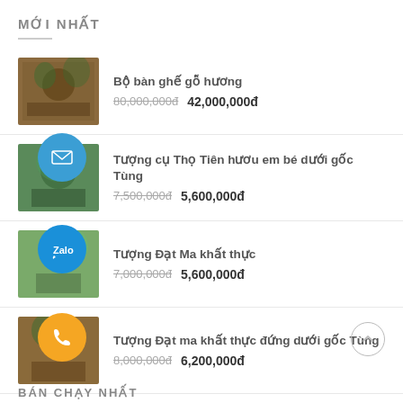MỚI NHẤT
Bộ bàn ghế gỗ hương
80,000,000đ  42,000,000đ
Tượng cụ Thọ Tiên hươu em bé dưới gốc Tùng
7,500,000đ  5,600,000đ
Tượng Đạt Ma khất thực
7,000,000đ  5,600,000đ
Tượng Đạt ma khất thực đứng dưới gốc Tùng
8,000,000đ  6,200,000đ
BÁN CHẠY NHẤT